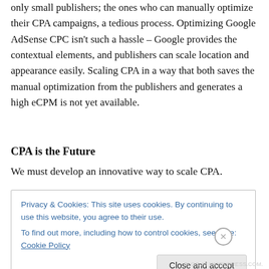only small publishers; the ones who can manually optimize their CPA campaigns, a tedious process. Optimizing Google AdSense CPC isn't such a hassle – Google provides the contextual elements, and publishers can scale location and appearance easily. Scaling CPA in a way that both saves the manual optimization from the publishers and generates a high eCPM is not yet available.
CPA is the Future
We must develop an innovative way to scale CPA.
Privacy & Cookies: This site uses cookies. By continuing to use this website, you agree to their use.
To find out more, including how to control cookies, see here: Cookie Policy
Close and accept